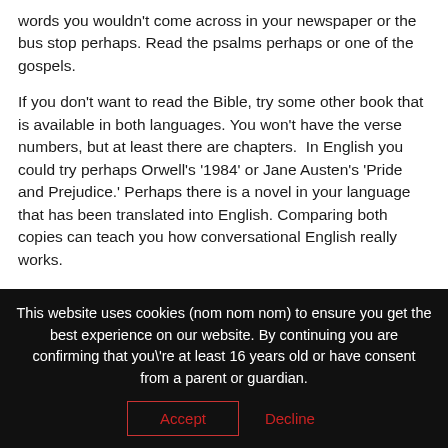words you wouldn't come across in your newspaper or the bus stop perhaps. Read the psalms perhaps or one of the gospels.
If you don't want to read the Bible, try some other book that is available in both languages. You won't have the verse numbers, but at least there are chapters.  In English you could try perhaps Orwell's '1984' or Jane Austen's 'Pride and Prejudice.' Perhaps there is a novel in your language that has been translated into English. Comparing both copies can teach you how conversational English really works.
Perhaps you prefer to listen rather than read.  If so, try audio books. You can even listen while you are driving or walking
This website uses cookies (nom nom nom) to ensure you get the best experience on our website. By continuing you are confirming that you\'re at least 16 years old or have consent from a parent or guardian.